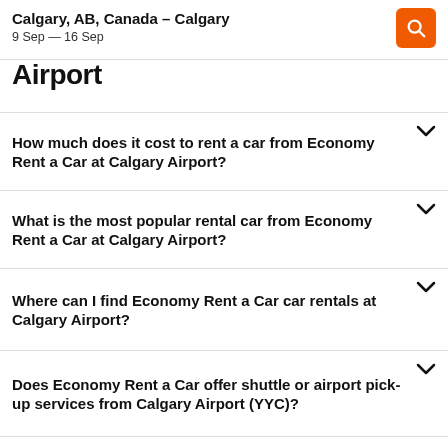Calgary, AB, Canada - Calgary
9 Sep — 16 Sep
Airport
How much does it cost to rent a car from Economy Rent a Car at Calgary Airport?
What is the most popular rental car from Economy Rent a Car at Calgary Airport?
Where can I find Economy Rent a Car car rentals at Calgary Airport?
Does Economy Rent a Car offer shuttle or airport pick-up services from Calgary Airport (YYC)?